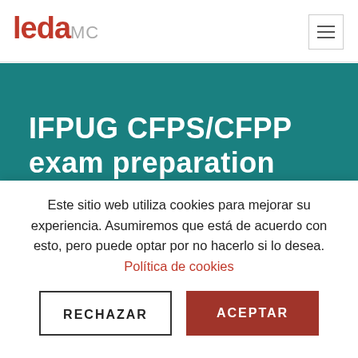leda MC
IFPUG CFPS/CFPP exam preparation WORKSHOP
Este sitio web utiliza cookies para mejorar su experiencia. Asumiremos que está de acuerdo con esto, pero puede optar por no hacerlo si lo desea. Política de cookies
RECHAZAR
ACEPTAR